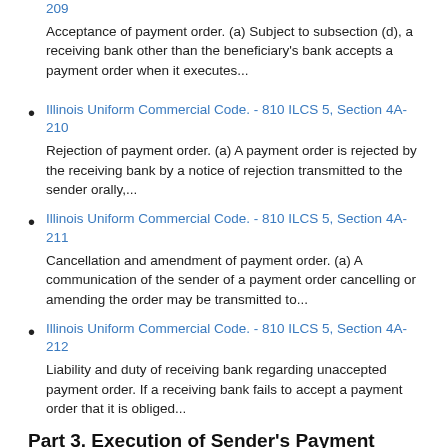Illinois Uniform Commercial Code. - 810 ILCS 5, Section 4A-209
Acceptance of payment order. (a) Subject to subsection (d), a receiving bank other than the beneficiary's bank accepts a payment order when it executes...
Illinois Uniform Commercial Code. - 810 ILCS 5, Section 4A-210
Rejection of payment order. (a) A payment order is rejected by the receiving bank by a notice of rejection transmitted to the sender orally,...
Illinois Uniform Commercial Code. - 810 ILCS 5, Section 4A-211
Cancellation and amendment of payment order. (a) A communication of the sender of a payment order cancelling or amending the order may be transmitted to...
Illinois Uniform Commercial Code. - 810 ILCS 5, Section 4A-212
Liability and duty of receiving bank regarding unaccepted payment order. If a receiving bank fails to accept a payment order that it is obliged...
Part 3. Execution of Sender's Payment Order by